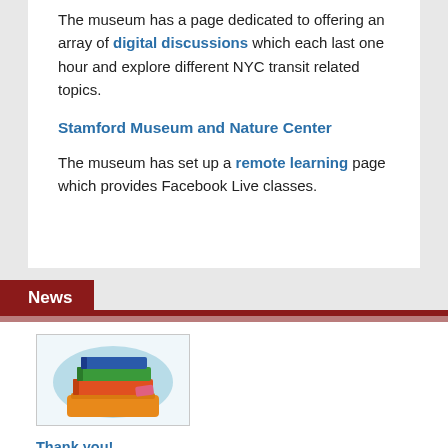The museum has a page dedicated to offering an array of digital discussions which each last one hour and explore different NYC transit related topics.
Stamford Museum and Nature Center
The museum has set up a remote learning page which provides Facebook Live classes.
News
[Figure (illustration): Illustration of a stack of books with colorful spines on an orange surface, with a light blue cloud-like background shape.]
Thank you!
The Larchmont Library would like to thank everyone who donated